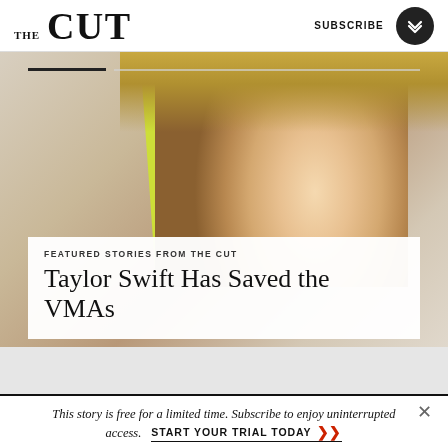THE CUT | SUBSCRIBE
[Figure (photo): Close-up portrait of Taylor Swift with blonde hair pulled back, wearing dramatic cat-eye makeup with rhinestones, red lipstick, and a sparkly silver outfit. A yellow-green accent visible in background.]
FEATURED STORIES FROM THE CUT
Taylor Swift Has Saved the VMAs
This story is free for a limited time. Subscribe to enjoy uninterrupted access.
START YOUR TRIAL TODAY